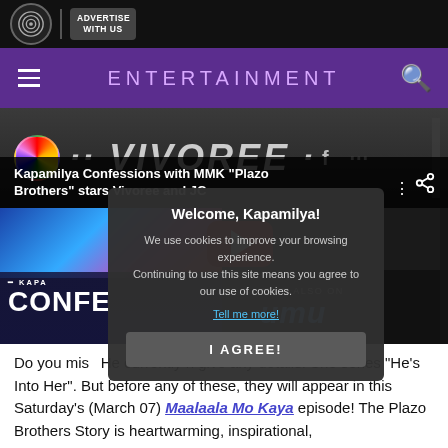ABS-CBN | ADVERTISE WITH US
ENTERTAINMENT
[Figure (screenshot): Video thumbnail showing VIVOREE text with ABS-CBN logo circle]
Kapamilya Confessions with MMK "Plazo Brothers" stars Vivoree and JC
[Figure (screenshot): Video player area showing Kapamilya Confessions branding, YouTube play button, and Viu/umu watch also panel with cookie consent popup overlay]
Do you miss... He currently h... give any details. She... series "He's Into Her". But before any of these, they will appear in this Saturday's (March 07) Maalaala Mo Kaya episode! The Plazo Brothers Story is heartwarming, inspirational,